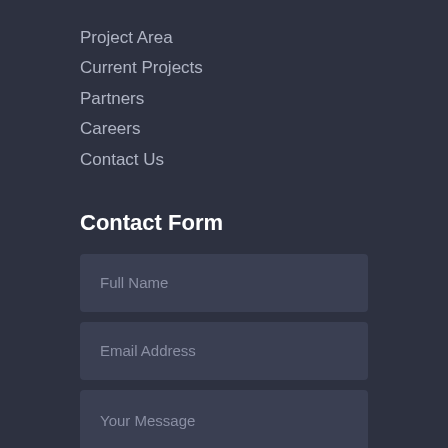Project Area
Current Projects
Partners
Careers
Contact Us
Contact Form
Full Name
Email Address
Your Message